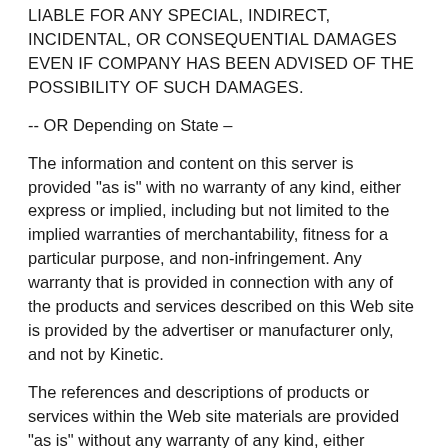LIABLE FOR ANY SPECIAL, INDIRECT, INCIDENTAL, OR CONSEQUENTIAL DAMAGES EVEN IF COMPANY HAS BEEN ADVISED OF THE POSSIBILITY OF SUCH DAMAGES.
-- OR Depending on State –
The information and content on this server is provided "as is" with no warranty of any kind, either express or implied, including but not limited to the implied warranties of merchantability, fitness for a particular purpose, and non-infringement. Any warranty that is provided in connection with any of the products and services described on this Web site is provided by the advertiser or manufacturer only, and not by Kinetic.
The references and descriptions of products or services within the Web site materials are provided "as is" without any warranty of any kind, either